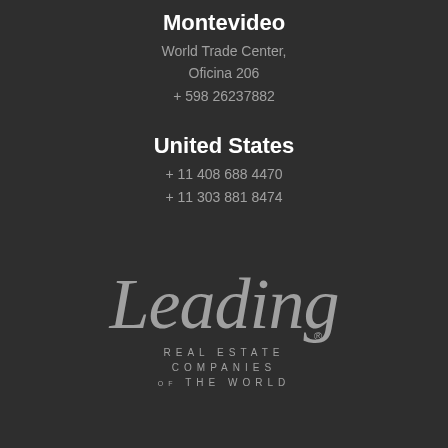Montevideo
World Trade Center,
Oficina 206
+ 598 26237882
United States
+ 11 408 688 4470
+ 11 303 881 8474
[Figure (logo): Leading Real Estate Companies of the World logo — script 'Leading' with trademark symbol, below which appears 'REAL ESTATE COMPANIES OF THE WORLD' in spaced capitals]